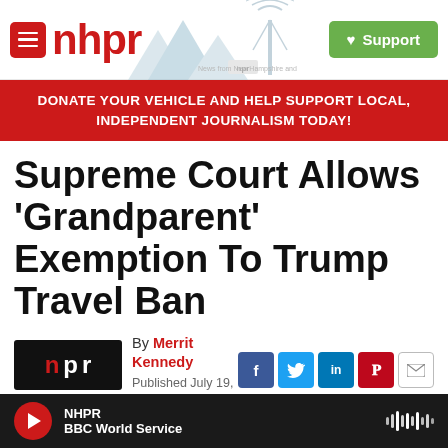nhpr — News from New Hampshire and NPR | Support
DONATE YOUR VEHICLE AND HELP SUPPORT LOCAL, INDEPENDENT JOURNALISM TODAY!
Supreme Court Allows 'Grandparent' Exemption To Trump Travel Ban
By Merrit Kennedy
Published July 19,
[Figure (logo): NPR logo in black box with red N and white p r letters]
[Figure (other): Social sharing icons: Facebook, Twitter, LinkedIn, Pinterest, Email]
NHPR BBC World Service — audio player